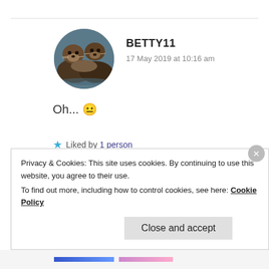[Figure (photo): Circular avatar photo of sea otters floating together on water]
BETTY11
17 May 2019 at 10:16 am
Oh... 😐
★ Liked by 1 person
Advertisements
Privacy & Cookies: This site uses cookies. By continuing to use this website, you agree to their use.
To find out more, including how to control cookies, see here: Cookie Policy
Close and accept